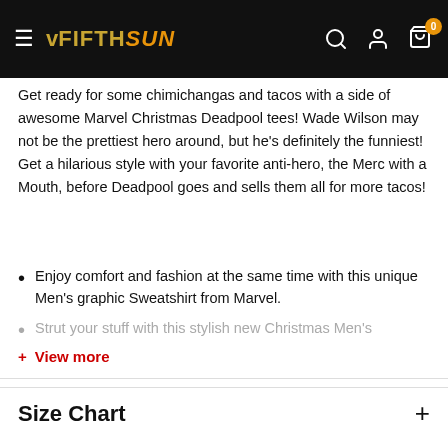VFIFTHSUN — navigation bar with logo, search, account, and cart icons
Get ready for some chimichangas and tacos with a side of awesome Marvel Christmas Deadpool tees! Wade Wilson may not be the prettiest hero around, but he's definitely the funniest! Get a hilarious style with your favorite anti-hero, the Merc with a Mouth, before Deadpool goes and sells them all for more tacos!
Enjoy comfort and fashion at the same time with this unique Men's graphic Sweatshirt from Marvel.
Strut your stuff with this stylish new Christmas Men's
+ View more
Size Chart